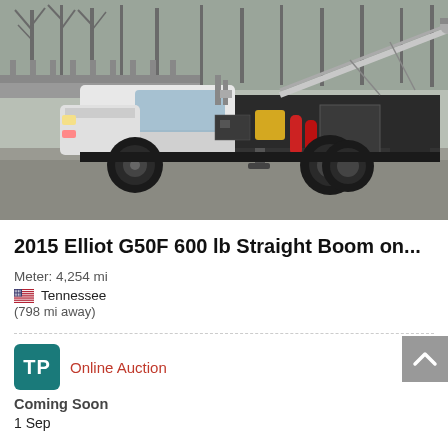[Figure (photo): A 2015 Elliot G50F 600 lb Straight Boom truck-mounted crane, white cab with drilling/boom equipment on flatbed, parked on gravel with bare trees in background.]
2015 Elliot G50F 600 lb Straight Boom on...
Meter: 4,254 mi
Tennessee
(798 mi away)
Online Auction
Coming Soon
1 Sep